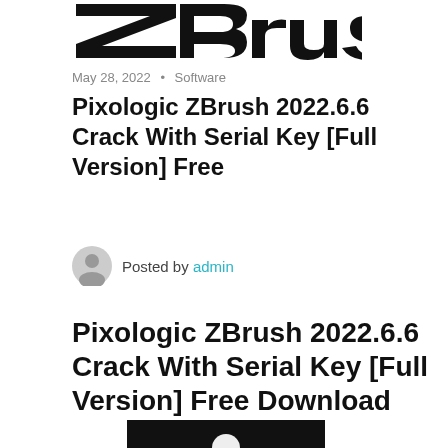[Figure (logo): ZBrush logo in bold black text with stylized lettering]
May 28, 2022 • Software
Pixologic ZBrush 2022.6.6 Crack With Serial Key [Full Version] Free
Posted by admin
Pixologic ZBrush 2022.6.6 Crack With Serial Key [Full Version] Free Download
[Figure (photo): Partial image at bottom showing a dark background with a partially visible white shape]